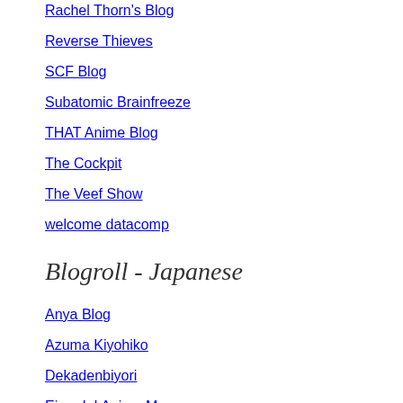Rachel Thorn's Blog
Reverse Thieves
SCF Blog
Subatomic Brainfreeze
THAT Anime Blog
The Cockpit
The Veef Show
welcome datacomp
Blogroll - Japanese
Anya Blog
Azuma Kiyohiko
Dekadenbiyori
Eigo de! Anime Manga
gallo44 Picture Diary
Greenroom Talk ~JAM Project no Gakuyabanashi~